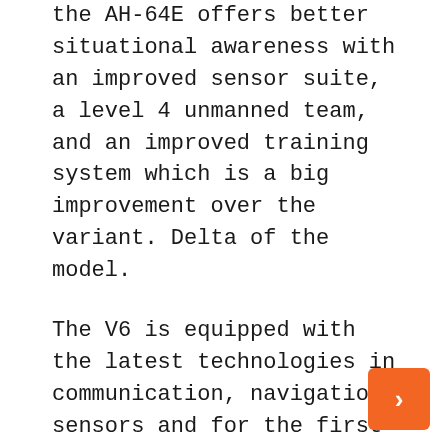the AH-64E offers better situational awareness with an improved sensor suite, a level 4 unmanned team, and an improved training system which is a big improvement over the variant. Delta of the model.
The V6 is equipped with the latest technologies in communication, navigation, sensors and for the first time a Cognitive Decision Support System (CDAS). These systems represent a major advance in the Apache program and a key aspect of Apache’s role in joint operations across all domains and for our international partners.
Apache version 6 of the AH-64E model is the last planned upgrade to the aircraft, replacing the AH-64D Apache attack helicopters. The V6